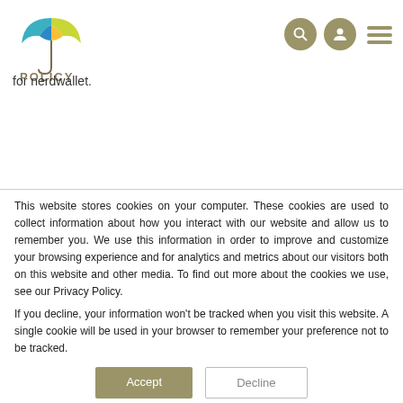[Figure (logo): Policy Guide umbrella logo with colorful segments (teal, blue, green, yellow) and text POLICY below]
for nerdwallet.
This website stores cookies on your computer. These cookies are used to collect information about how you interact with our website and allow us to remember you. We use this information in order to improve and customize your browsing experience and for analytics and metrics about our visitors both on this website and other media. To find out more about the cookies we use, see our Privacy Policy.
If you decline, your information won't be tracked when you visit this website. A single cookie will be used in your browser to remember your preference not to be tracked.